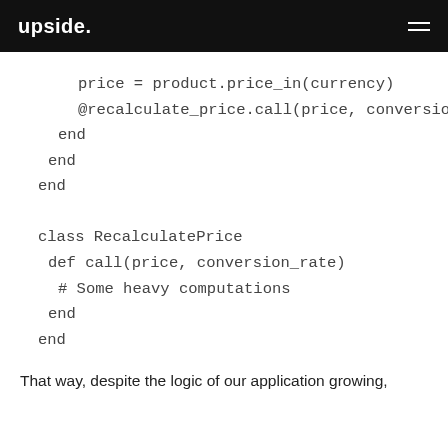upside.
price = product.price_in(currency)
    @recalculate_price.call(price, conversion_rate)
  end
 end
end

class RecalculatePrice
 def call(price, conversion_rate)
  # Some heavy computations
 end
end
That way, despite the logic of our application growing,